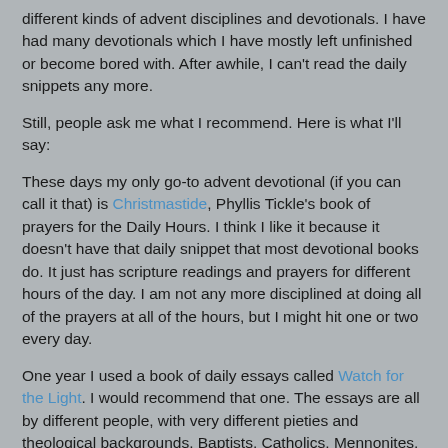different kinds of advent disciplines and devotionals.  I have had many devotionals which I have mostly left unfinished or become bored with.  After awhile, I can't read the daily snippets any more.

Still, people ask me what I recommend.  Here is what I'll say:

These days my only go-to advent devotional (if you can call it that) is Christmastide, Phyllis Tickle's book of prayers for the Daily Hours.  I think I like it because it doesn't have that daily snippet that most devotional books do.  It just has scripture readings and prayers for different hours of the day.  I am not any more disciplined at doing all of the prayers at all of the hours, but I might hit one or two every day.

One year I used a book of daily essays called Watch for the Light.  I would recommend that one.  The essays are all by different people, with very different pieties and theological backgrounds.  Baptists, Catholics, Mennonites, writers from this century and the 4th century all have a voice.

I find Sybil MacBeth's new book The Season of the Nativity a